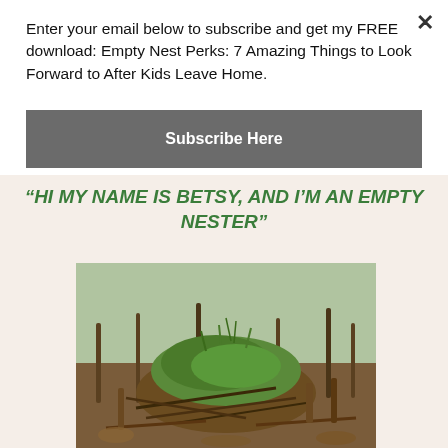Enter your email below to subscribe and get my FREE download: Empty Nest Perks: 7 Amazing Things to Look Forward to After Kids Leave Home.
Subscribe Here
“HI MY NAME IS BETSY, AND I’M AN EMPTY NESTER”
[Figure (photo): A bird's nest made of twigs and moss sitting on the ground in a sparse outdoor setting]